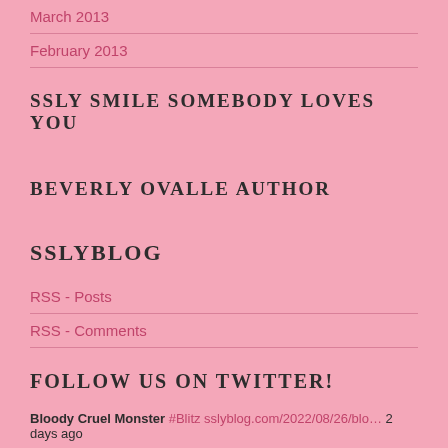March 2013
February 2013
SSLY SMILE SOMEBODY LOVES YOU
BEVERLY OVALLE AUTHOR
SSLYBLOG
RSS - Posts
RSS - Comments
FOLLOW US ON TWITTER!
Bloody Cruel Monster #Blitz sslyblog.com/2022/08/26/blo… 2 days ago